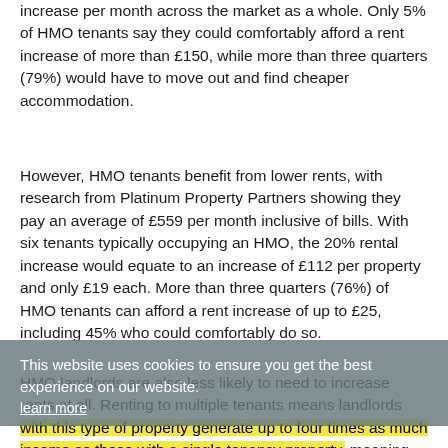increase per month across the market as a whole. Only 5% of HMO tenants say they could comfortably afford a rent increase of more than £150, while more than three quarters (79%) would have to move out and find cheaper accommodation.
However, HMO tenants benefit from lower rents, with research from Platinum Property Partners showing they pay an average of £559 per month inclusive of bills. With six tenants typically occupying an HMO, the 20% rental increase would equate to an increase of £112 per property and only £19 each. More than three quarters (76%) of HMO tenants can afford a rent increase of up to £25, including 45% who could comfortably do so.
This website uses cookies to ensure you get the best experience on our website.
learn more
HMO landlords are also less likely to need to increase rents at all. Renting to multiple tenants means landlords with this type of property generate up to four times as much income as those with a single tenancy property, meaning they are better positioned to absorb the higher costs caused by the tax changes.